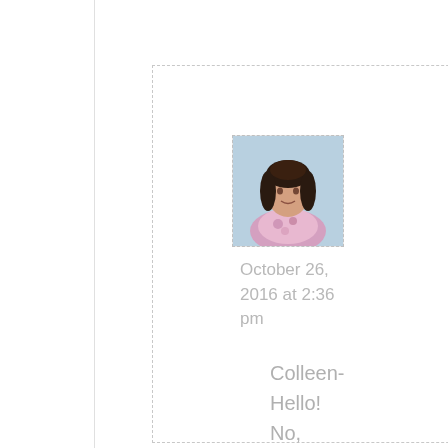[Figure (photo): Small portrait photo of a woman with dark hair, wearing a floral/patterned top, against a light blue background. Shown inside a dashed border box.]
October 26, 2016 at 2:36 pm
Colleen- Hello! No, you can't buy the blazer